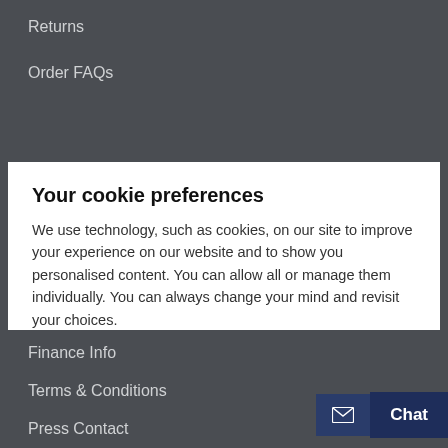Returns
Order FAQs
Your cookie preferences
We use technology, such as cookies, on our site to improve your experience on our website and to show you personalised content. You can allow all or manage them individually. You can always change your mind and revisit your choices.
Manage cookies
Accept all
Finance Info
Terms & Conditions
Press Contact
Chat